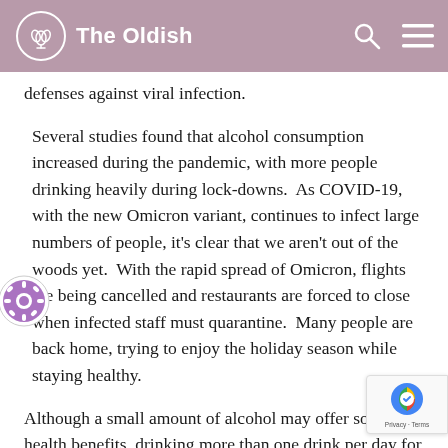The Oldish
defenses against viral infection.
Several studies found that alcohol consumption increased during the pandemic, with more people drinking heavily during lock-downs.  As COVID-19, with the new Omicron variant, continues to infect large numbers of people, it's clear that we aren't out of the woods yet.  With the rapid spread of Omicron, flights are being cancelled and restaurants are forced to close when infected staff must quarantine.  Many people are back home, trying to enjoy the holiday season while staying healthy.
Although a small amount of alcohol may offer some health benefits, drinking more than one drink per day for women, and two drinks for men can lead to many serious health problems. The good news is that one of the growing food and drink trends for the New Year is the availability of alcoholic beverages that mimic the taste of spirits, beer, wine, and seltzer.  People who either don't drink alcohol or want to change their drinking habits can still enjoy satisfying